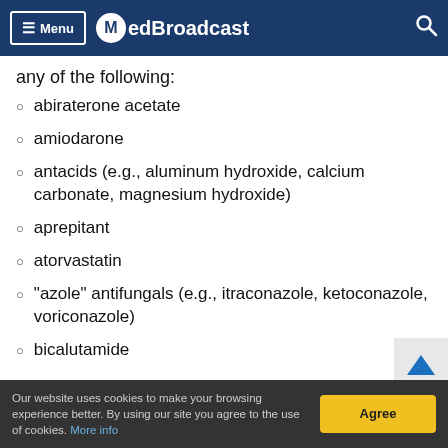Menu MedBroadcast
any of the following:
abiraterone acetate
amiodarone
antacids (e.g., aluminum hydroxide, calcium carbonate, magnesium hydroxide)
aprepitant
atorvastatin
“azole” antifungals (e.g., itraconazole, ketoconazole, voriconazole)
bicalutamide
Our website uses cookies to make your browsing experience better. By using our site you agree to the use of cookies. More info